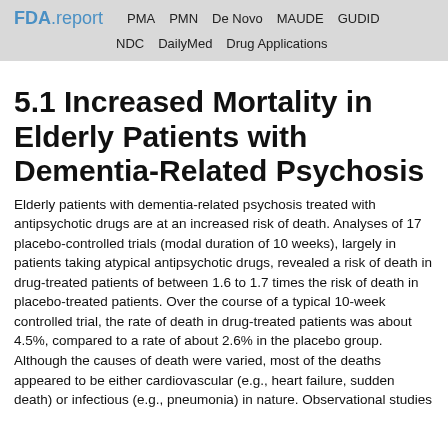FDA.report  PMA  PMN  De Novo  MAUDE  GUDID  NDC  DailyMed  Drug Applications
5.1 Increased Mortality in Elderly Patients with Dementia-Related Psychosis
Elderly patients with dementia-related psychosis treated with antipsychotic drugs are at an increased risk of death. Analyses of 17 placebo-controlled trials (modal duration of 10 weeks), largely in patients taking atypical antipsychotic drugs, revealed a risk of death in drug-treated patients of between 1.6 to 1.7 times the risk of death in placebo-treated patients. Over the course of a typical 10-week controlled trial, the rate of death in drug-treated patients was about 4.5%, compared to a rate of about 2.6% in the placebo group. Although the causes of death were varied, most of the deaths appeared to be either cardiovascular (e.g., heart failure, sudden death) or infectious (e.g., pneumonia) in nature. Observational studies